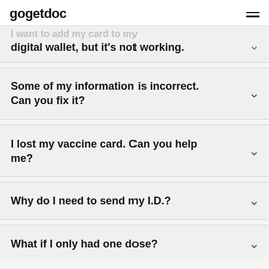gogetdoc
I want to add my card to my digital wallet, but it's not working.
Some of my information is incorrect. Can you fix it?
I lost my vaccine card. Can you help me?
Why do I need to send my I.D.?
What if I only had one dose?